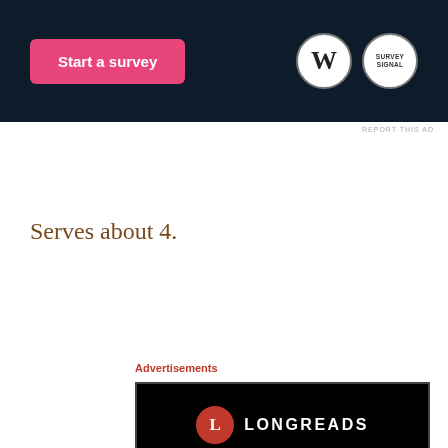[Figure (screenshot): Top advertisement banner with dark navy background showing 'Start a survey' pink button and WordPress/Survey logos on the right]
REPORT THIS AD
Serves about 4.
Advertisements
[Figure (screenshot): Longreads advertisement on black background with red circle L logo, 'LONGREADS' text, and tagline 'Read anything great lately?']
Advertisements
[Figure (screenshot): DuckDuckGo advertisement with orange-red background, 'Search, browse, and email with more privacy. All in One Free App' text, and DuckDuckGo logo on dark right panel]
REPORT THIS AD